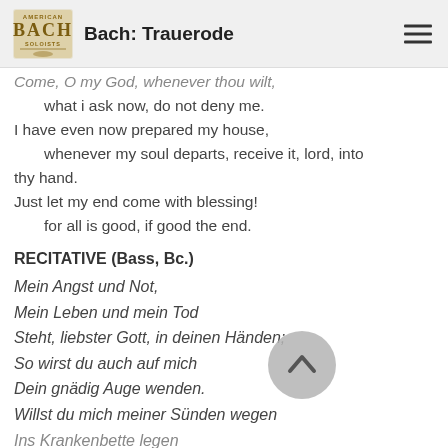Bach: Trauerode
Come, O my God, whenever thou wilt,
  what i ask now, do not deny me.
I have even now prepared my house,
  whenever my soul departs, receive it, lord, into thy hand.
Just let my end come with blessing!
  for all is good, if good the end.
RECITATIVE (Bass, Bc.)
Mein Angst und Not,
Mein Leben und mein Tod
Steht, liebster Gott, in deinen Händen;
So wirst du auch auf mich
Dein gnädig Auge wenden.
Willst du mich meiner Sünden wegen
Ins Krankenbette legen